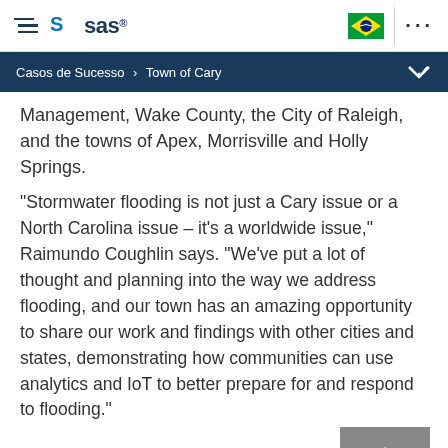SAS logo navigation bar with hamburger menu, Brazil flag, and more options
Casos de Sucesso > Town of Cary
Management, Wake County, the City of Raleigh, and the towns of Apex, Morrisville and Holly Springs.
“Stormwater flooding is not just a Cary issue or a North Carolina issue – it’s a worldwide issue,” Raimundo Coughlin says. “We’ve put a lot of thought and planning into the way we address flooding, and our town has an amazing opportunity to share our work and findings with other cities and states, demonstrating how communities can use analytics and IoT to better prepare for and respond to flooding.”
[Figure (screenshot): Social share buttons for Facebook, Twitter, and LinkedIn, plus floating UI buttons for scroll-to-top, chat, and menu]